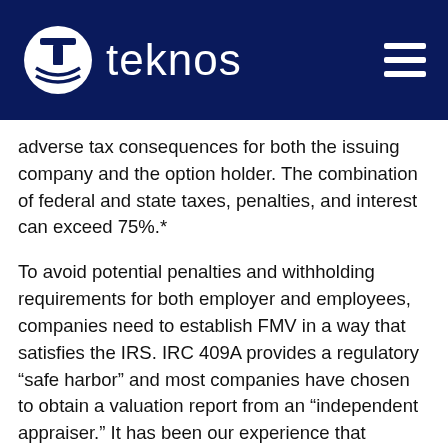teknos
adverse tax consequences for both the issuing company and the option holder.  The combination of federal and state taxes, penalties, and interest can exceed 75%.*
To avoid potential penalties and withholding requirements for both employer and employees, companies need to establish FMV in a way that satisfies the IRS. IRC 409A provides a regulatory “safe harbor” and most companies have chosen to obtain a valuation report from an “independent appraiser.”  It has been our experience that companies commonly get an independent appraisal after obtaining the first round of outside capital and thereafter get an appraisal every 12 months or after a material change (such as a new equity financing), as required by the